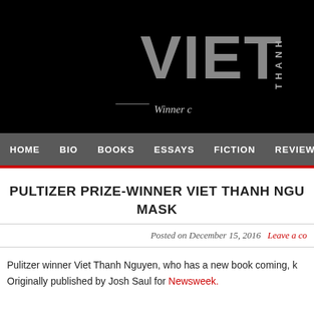VIET THANH — Winner c…
HOME   BIO   BOOKS   ESSAYS   FICTION   REVIEW
PULTIZER PRIZE-WINNER VIET THANH NGU… MASK
Posted on December 15, 2016   Leave a co…
Pulitzer winner Viet Thanh Nguyen, who has a new book coming, k… Originally published by Josh Saul for Newsweek.